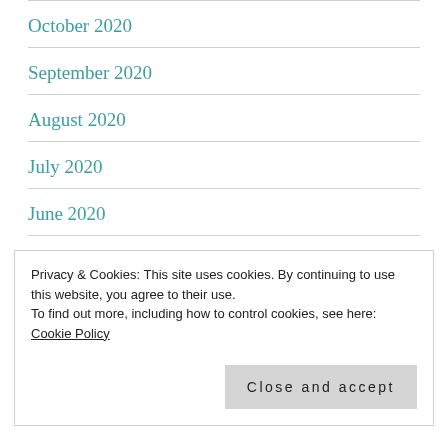October 2020
September 2020
August 2020
July 2020
June 2020
May 2020
April 2020
January 2020
Privacy & Cookies: This site uses cookies. By continuing to use this website, you agree to their use.
To find out more, including how to control cookies, see here: Cookie Policy
Close and accept